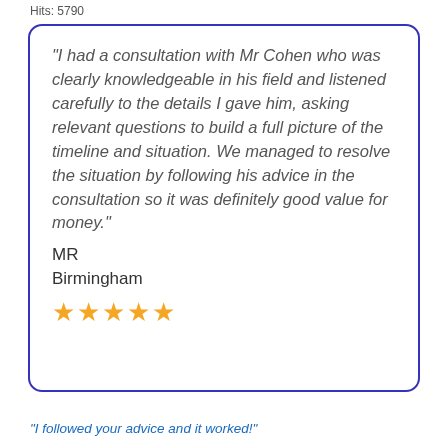Hits: 5790
“I had a consultation with Mr Cohen who was clearly knowledgeable in his field and listened carefully to the details I gave him, asking relevant questions to build a full picture of the timeline and situation. We managed to resolve the situation by following his advice in the consultation so it was definitely good value for money.” MR Birmingham ★★★★★
“I followed your advice and it worked!”